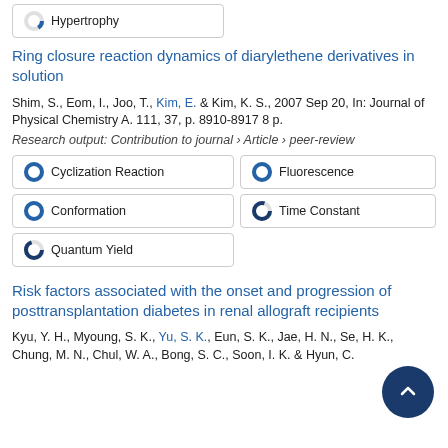Hypertrophy
Ring closure reaction dynamics of diarylethene derivatives in solution
Shim, S., Eom, I., Joo, T., Kim, E. & Kim, K. S., 2007 Sep 20, In: Journal of Physical Chemistry A. 111, 37, p. 8910-8917 8 p.
Research output: Contribution to journal › Article › peer-review
Cyclization Reaction
Fluorescence
Conformation
Time Constant
Quantum Yield
Risk factors associated with the onset and progression of posttransplantation diabetes in renal allograft recipients
Kyu, Y. H., Myoung, S. K., Yu, S. K., Eun, S. K., Jae, H. N., Se, H. K., Chung, M. N., Chul, W. A., Bong, S. C., Soon, I. K. & Hyun, C.